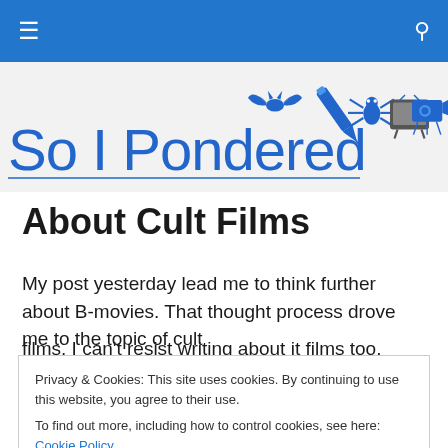So I Pondered — navigation bar with hamburger menu and search icon
[Figure (logo): So I Pondered website logo with text 'So I Pondered' in blue, accompanied by icons: bat, fountain pen, spider, TV, movie camera]
About Cult Films
My post yesterday lead me to think further about B-movies. That thought process drove me to the topic of cult films. I can't resist writing about it films too. Recognizing Cult movies are fascinating, but the fans take it to another
Privacy & Cookies: This site uses cookies. By continuing to use this website, you agree to their use.
To find out more, including how to control cookies, see here: Cookie Policy
movies are fascinating, but the fans take it to another